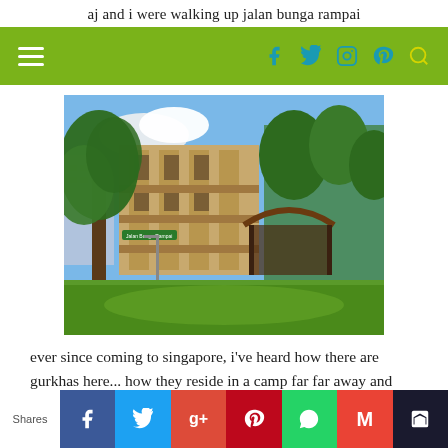aj and i were walking up jalan bunga rampai
[Figure (other): Navigation bar with hamburger menu icon, social media icons (Facebook, Twitter, Instagram, Pinterest) and search icon on olive/yellow-green background]
[Figure (photo): Outdoor photograph of a building with concrete architecture, trees, green lawn, and a covered walkway/pavilion structure. A street sign for 'Jalan Bunga Rampai' is visible. Blue sky with clouds in background.]
ever since coming to singapore, i've heard how there are gurkhas here... how they reside in a camp far far away and they're not
[Figure (other): Social sharing bar with 'Shares' label and buttons for Facebook, Twitter, Google+, Pinterest, WhatsApp, Gmail, and bookmark]